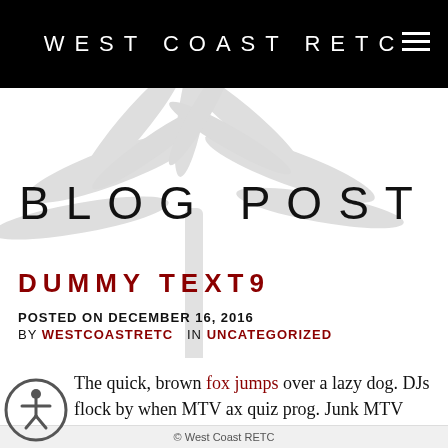WEST COAST RETC
BLOG POST
DUMMY TEXT9
POSTED ON DECEMBER 16, 2016
BY WESTCOASTRETC  IN UNCATEGORIZED
The quick, brown fox jumps over a lazy dog. DJs flock by when MTV ax quiz prog. Junk MTV quiz graced by fox whelps. Bawds jog, flick quartz, vex nymphs. Waltz,
© West Coast RETC